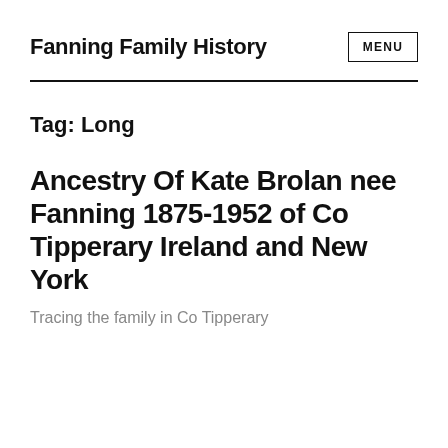Fanning Family History
Tag: Long
Ancestry Of Kate Brolan nee Fanning 1875-1952 of Co Tipperary Ireland and New York
Tracing the family in Co Tipperary